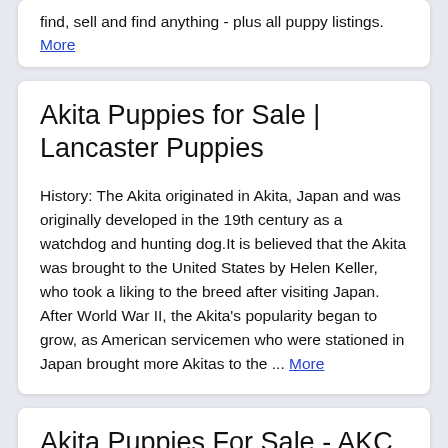find, sell and find anything - plus all puppy listings. More
Akita Puppies for Sale | Lancaster Puppies
History: The Akita originated in Akita, Japan and was originally developed in the 19th century as a watchdog and hunting dog.It is believed that the Akita was brought to the United States by Helen Keller, who took a liking to the breed after visiting Japan. After World War II, the Akita's popularity began to grow, as American servicemen who were stationed in Japan brought more Akitas to the ... More
Akita Puppies For Sale - AKC